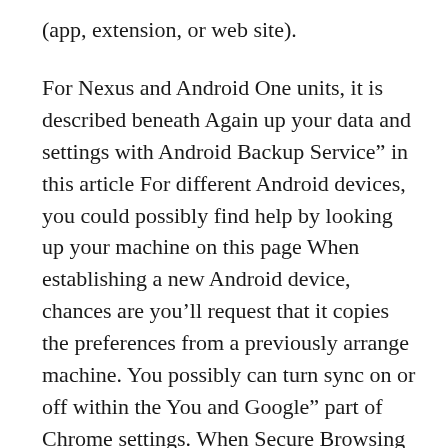(app, extension, or web site).
For Nexus and Android One units, it is described beneath Again up your data and settings with Android Backup Service” in this article For different Android devices, you could possibly find help by looking up your machine on this page When establishing a new Android device, chances are you’ll request that it copies the preferences from a previously arrange machine. You possibly can turn sync on or off within the You and Google” part of Chrome settings. When Secure Browsing is enabled in Chrome, Chrome contacts Google’s servers periodically to download the newest Secure Shopping listing of unsafe sites including websites associated with phishing